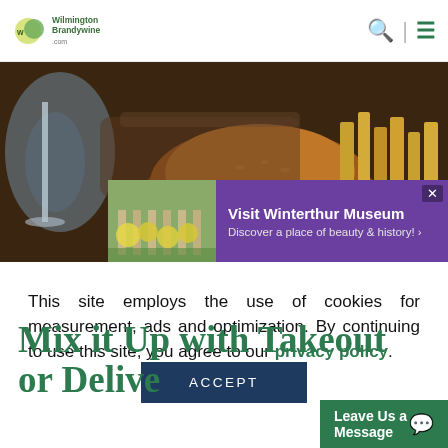Wilmington Brandywine - Navigation header with logo, search, and menu icons
[Figure (photo): Hero image of food items including a large burger bun and french fries on a dark restaurant table background, with an advertisement overlay for Winterthur Museum showing a garden/building photo, purple background, text 'Visit Winterthur Museum - Discover a place of beauty & history!' and a close button]
This site employs the use of cookies for measurement, ads and optimization. By continuing to use this site, you agree to our privacy policy.
ACCEPT
Mix it Up with Takeout or Delive...
Leave Us a Message